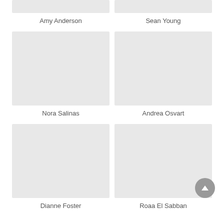[Figure (photo): Placeholder image for Amy Anderson]
[Figure (photo): Placeholder image for Sean Young]
Amy Anderson
Sean Young
[Figure (photo): Placeholder image for Nora Salinas]
[Figure (photo): Placeholder image for Andrea Osvart]
Nora Salinas
Andrea Osvart
[Figure (photo): Placeholder image for Dianne Foster]
[Figure (photo): Placeholder image for Roaa El Sabban]
Dianne Foster
Roaa El Sabban